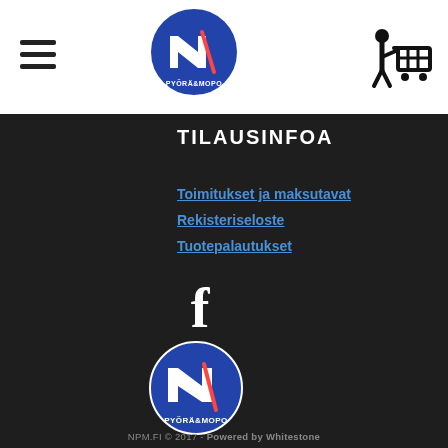[Figure (logo): Pyörä&Mopo circular logo in blue and white at top header]
[Figure (logo): Hamburger menu icon (three horizontal lines) at top left]
[Figure (logo): Shopping cart icon with person silhouette at top right]
TILAUSINFOA
Toimitukset ja maksutavat
Rekisteriseloste
Tuotepalautukset
[Figure (logo): Facebook 'f' logo in white]
[Figure (logo): Pyörä&Mopo circular logo in blue and white at bottom center]
NPM.FI © 2017 - Powered by Whitestone